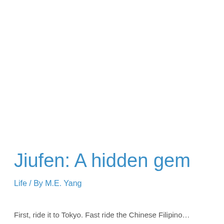Jiufen: A hidden gem
Life / By M.E. Yang
First, ride it to Tokyo. Fast ride the Chinese Filipino...